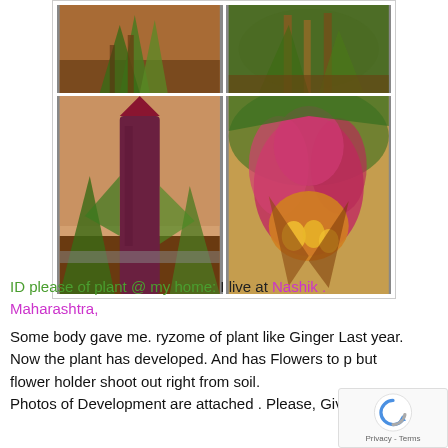[Figure (photo): Grid of 4 plant photos showing a ginger-like plant with tall shoots and colorful flowers (pink/red/yellow blooms), taken in a garden setting]
ID please of plant @ my home: I live at Nashik . Maharashtra,
Some body gave me. ryzome of plant like Ginger Last year.
Now the plant has developed. And has Flowers to p but flower holder shoot out right from soil.
Photos of Development are attached . Please, Give me